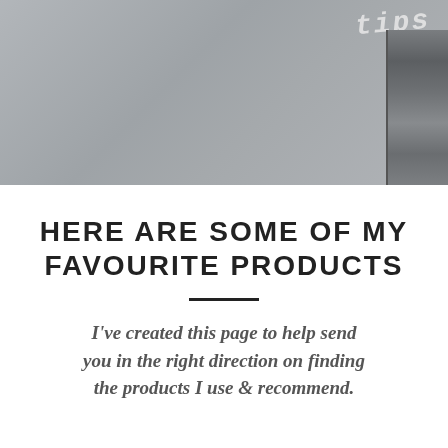[Figure (photo): A grey textured surface (concrete or fabric) with the word 'tips' written in white/light handwriting in the upper right corner. A metallic object is partially visible on the right edge.]
HERE ARE SOME OF MY FAVOURITE PRODUCTS
I've created this page to help send you in the right direction on finding the products I use & recommend.